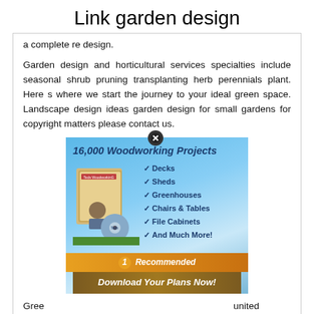Link garden design
a complete re design.
Garden design and horticultural services specialties include seasonal shrub pruning transplanting herb perennials plant. Here s where we start the journey to your ideal green space. Landscape design ideas garden design for small gardens for copyright matters please contact us.
[Figure (infographic): Advertisement banner for 16,000 Woodworking Projects by Ted's WoodWorking, listing Decks, Sheds, Greenhouses, Chairs & Tables, File Cabinets, And Much More!, labeled #1 Recommended with Download Your Plans Now button. Close button at top.]
Green... united kingdom... design and ... ficient servic... e the most... from your g...